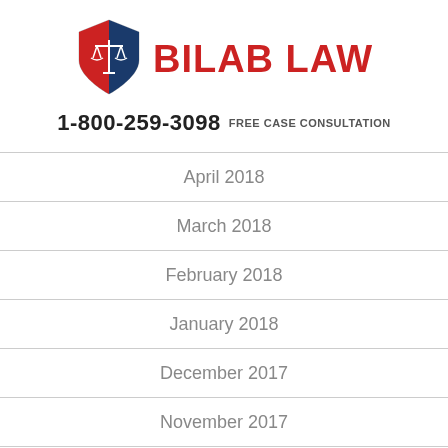[Figure (logo): Bilab Law shield logo with scales of justice, blue and red colors]
BILAB LAW
1-800-259-3098 FREE CASE CONSULTATION
April 2018
March 2018
February 2018
January 2018
December 2017
November 2017